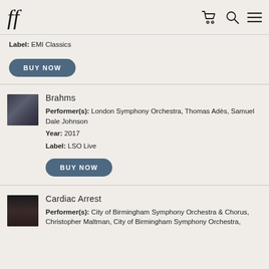ff [logo] [cart] [search] [menu]
Label: EMI Classics
BUY NOW
Brahms
Performer(s): London Symphony Orchestra, Thomas Adès, Samuel Dale Johnson
Year: 2017
Label: LSO Live
BUY NOW
Cardiac Arrest
Performer(s): City of Birmingham Symphony Orchestra & Chorus, Christopher Maltman, City of Birmingham Symphony Orchestra,